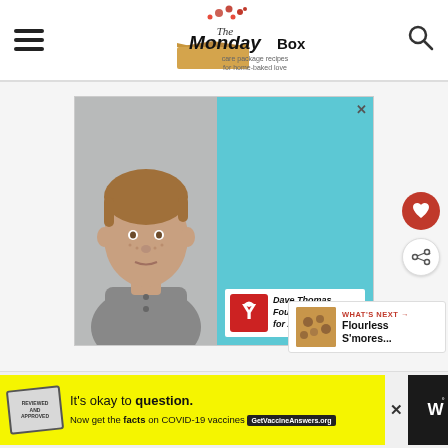The Monday Box — care package recipes for home-baked love
[Figure (photo): Advertisement featuring a boy's portrait on the left (gray background) and a teal/cyan panel on the right with Dave Thomas Foundation for Adoption logo at the bottom. There is an X close button in the top right corner.]
[Figure (infographic): What's Next panel showing a cookie thumbnail with text 'WHAT'S NEXT → Flourless S'mores...']
[Figure (infographic): Bottom banner advertisement: yellow background with stamp graphic, text 'It's okay to question. Now get the facts on COVID-19 vaccines' with GetVaccineAnswers.org button. Close X button and dark panel with W logo on right.]